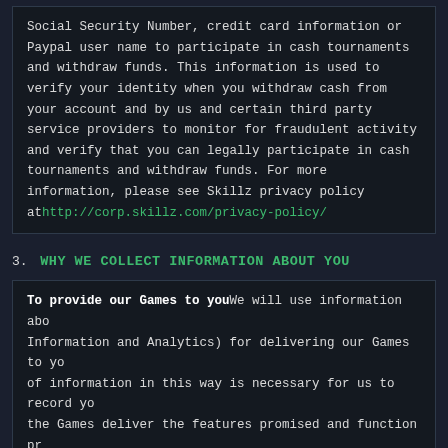Social Security Number, credit card information or Paypal user name to participate in cash tournaments and withdraw funds. This information is used to verify your identity when you withdraw cash from your account and by us and certain third party service providers to monitor for fraudulent activity and verify that you can legally participate in cash tournaments and withdraw funds. For more information, please see Skillz privacy policy at http://corp.skillz.com/privacy-policy/
3. WHY WE COLLECT INFORMATION ABOUT YOU
To provide our Games to you We will use information about you (including Personal Information and Analytics) for delivering our Games to you. Our use of information in this way is necessary for us to record your use of the Games deliver the features promised and function properly when you play one of our Games.